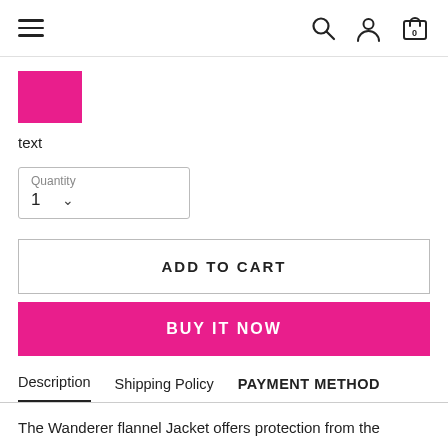Navigation header with hamburger menu, search, user, and cart icons
[Figure (other): Pink/magenta color swatch square]
text
Quantity 1
ADD TO CART
BUY IT NOW
Description   Shipping Policy   PAYMENT METHOD
The Wanderer flannel Jacket offers protection from the